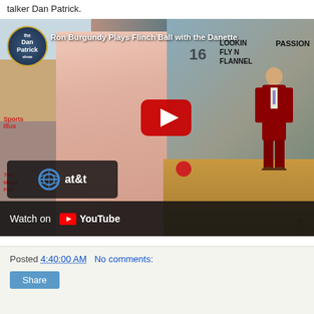talker Dan Patrick.
[Figure (screenshot): YouTube video thumbnail showing Ron Burgundy playing Flinch Ball with the Danettes on The Dan Patrick Show. The thumbnail shows a person in a pink shirt on the left, and a man in a maroon suit (Ron Burgundy) on the right in a gym-like studio. The Dan Patrick Show logo is in the upper left. A YouTube play button is in the center. AT&T logo and 'Watch on YouTube' bar are at the bottom.]
Posted 4:40:00 AM    No comments:
Share